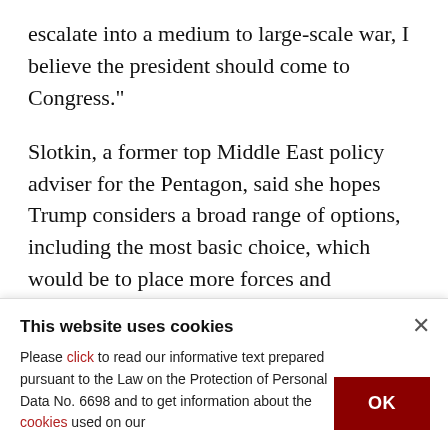escalate into a medium to large-scale war, I believe the president should come to Congress."
Slotkin, a former top Middle East policy adviser for the Pentagon, said she hopes Trump considers a broad range of options, including the most basic choice, which would be to place more forces and defensive military equipment in and around Saudi Arabia to help increase security.
A former… from U.S. Central Com… (partially visible)
This website uses cookies
Please click to read our informative text prepared pursuant to the Law on the Protection of Personal Data No. 6698 and to get information about the cookies used on our